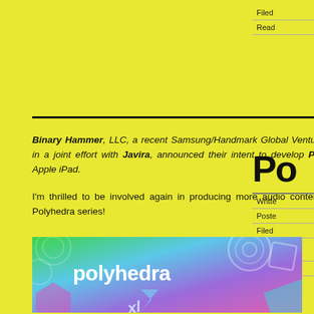Filed
Read
Binary Hammer, LLC, a recent Samsung/Handmark Global Venture Funding recipient, in a joint effort with Javira, announced their intent to develop Polyhedra XL for the Apple iPad.
I'm thrilled to be involved again in producing more audio content for the successful Polyhedra series!
Po
Written
Posted
Filed
Tagged XL, s
Read
[Figure (illustration): Polyhedra XL game promotional image with colorful geometric shapes on gradient background (green, blue, purple, pink) with 'polyhedra' text in white and 'xl' stylized logo below]